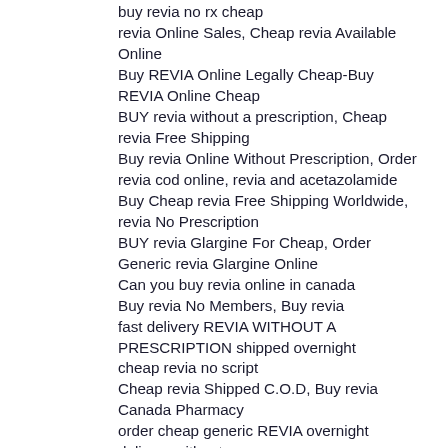buy revia no rx cheap
revia Online Sales, Cheap revia Available Online
Buy REVIA Online Legally Cheap-Buy REVIA Online Cheap
BUY revia without a prescription, Cheap revia Free Shipping
Buy revia Online Without Prescription, Order revia cod online, revia and acetazolamide
Buy Cheap revia Free Shipping Worldwide, revia No Prescription
BUY revia Glargine For Cheap, Order Generic revia Glargine Online
Can you buy revia online in canada
Buy revia No Members, Buy revia
fast delivery REVIA WITHOUT A PRESCRIPTION shipped overnight
cheap revia no script
Cheap revia Shipped C.O.D, Buy revia Canada Pharmacy
order cheap generic REVIA overnight delivery without a rx
Buy revia Online No Prescription, Buy revia in china
low prices for generic REVIA NON PRESCRIPTION
Buy revia Online next day Shipping -> revia without dr
Buy revia Sales Cheap, Buy revia Online eCheck
discount REVIA c.o.d overnight no rx
cheapest price to order REVIA no script needed